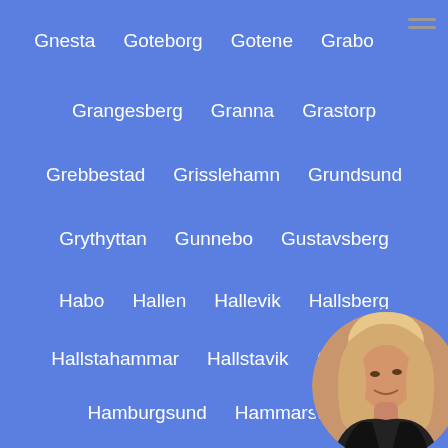Gnesta  Goteborg  Gotene  Grabo
Grangesberg  Granna  Grastorp
Grebbestad  Grisslehamn  Grundsund
Grythyttan  Gunnebo  Gustavsberg
Habo  Hallen  Hallevik  Hallsberg
Hallstahammar  Hallstavik  Halmstad
Hamburgsund  Hammarstrand
Haparanda  Harnosand  Ha...
Hassleholm  Haverdal  Ha...
Heby  Hedemora  Hes...
Hillerstorp  Hjalm...  Hjo  Hofor...